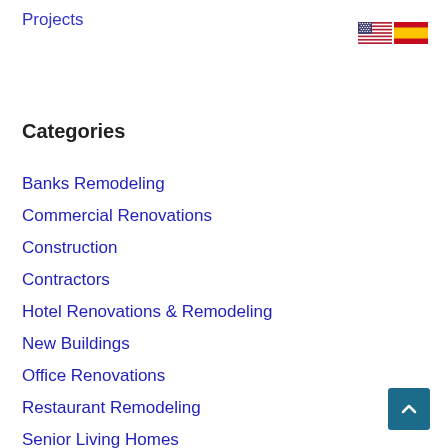Projects
[Figure (illustration): US flag and Spanish flag icons in top right corner]
Categories
Banks Remodeling
Commercial Renovations
Construction
Contractors
Hotel Renovations & Remodeling
New Buildings
Office Renovations
Restaurant Remodeling
Senior Living Homes